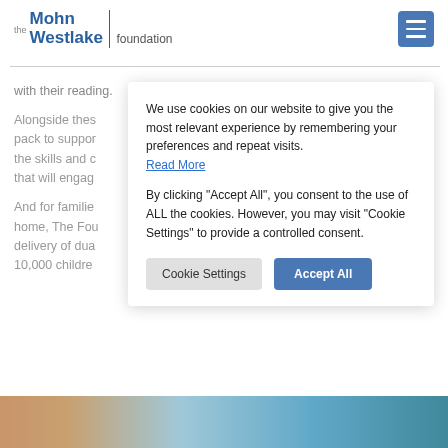[Figure (logo): The Mohn Westlake Foundation logo with hamburger menu icon]
with their reading.
Alongside thes pack to suppor the skills and c that will engag
And for familie home, The Fou delivery of dua 10,000 childre
We use cookies on our website to give you the most relevant experience by remembering your preferences and repeat visits.
Read More

By clicking "Accept All", you consent to the use of ALL the cookies. However, you may visit "Cookie Settings" to provide a controlled consent.
[Figure (photo): Photo strip at bottom of page showing children]